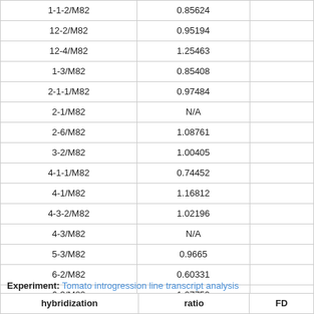| hybridization | ratio | FD |
| --- | --- | --- |
| 1-1-2/M82 | 0.85624 |  |
| 12-2/M82 | 0.95194 |  |
| 12-4/M82 | 1.25463 |  |
| 1-3/M82 | 0.85408 |  |
| 2-1-1/M82 | 0.97484 |  |
| 2-1/M82 | N/A |  |
| 2-6/M82 | 1.08761 |  |
| 3-2/M82 | 1.00405 |  |
| 4-1-1/M82 | 0.74452 |  |
| 4-1/M82 | 1.16812 |  |
| 4-3-2/M82 | 1.02196 |  |
| 4-3/M82 | N/A |  |
| 5-3/M82 | 0.9665 |  |
| 6-2/M82 | 0.60331 |  |
| 6-3/M82 | 1.07759 |  |
| 7-1/M82 | N/A |  |
| 7-2/M82 | 0.81286 |  |
| 9-3-2/M82 | 0.81744 |  |
Experiment: Tomato introgression line transcript analysis
| hybridization | ratio | FD |
| --- | --- | --- |
| IL4-4/WTpooled | 1.07631 |  |
| IL2-6/WTpooled | 1.0575 |  |
| IL7-5/WTpooled | 0.72385 |  |